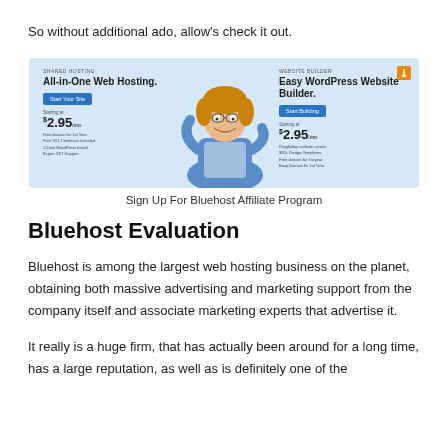So without additional ado, allow's check it out.
[Figure (screenshot): Bluehost website banner showing All-in-One Web Hosting on the left and Easy WordPress Website Builder on the right, with a person in the center and pricing starting at $2.95/mo on both sides.]
Sign Up For Bluehost Affiliate Program
Bluehost Evaluation
Bluehost is among the largest web hosting business on the planet, obtaining both massive advertising and marketing support from the company itself and associate marketing experts that advertise it.
It really is a huge firm, that has actually been around for a long time, has a large reputation, as well as is definitely one of the